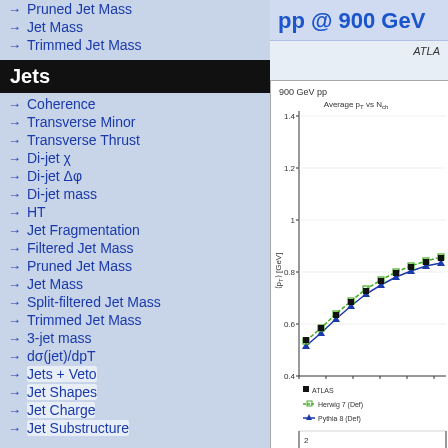→ Pruned Jet Mass
→ Jet Mass
→ Trimmed Jet Mass
Jets
→ Coherence
→ Transverse Minor
→ Transverse Thrust
→ Di-jet χ
→ Di-jet Δφ
→ Di-jet mass
→ HT
→ Jet Fragmentation
→ Filtered Jet Mass
→ Pruned Jet Mass
→ Jet Mass
→ Split-filtered Jet Mass
→ Trimmed Jet Mass
→ 3-jet mass
→ dσ(jet)/dpT
→ Jets + Veto
→ Jet Shapes
→ Jet Charge
→ Jet Substructure
pp @ 900 GeV
ATLAS
[Figure (continuous-plot): Plot of Average p_T vs N_ch at 900 GeV pp collisions. Y-axis is <p_T> [GeV] ranging from about 0.4 to above 1.4. Shows data points (ATLAS, black squares) and two MC lines: Herwig 7 (Def) dashed green squares, Pythia 8 (Def) solid blue triangles. All curves show increasing trend.]